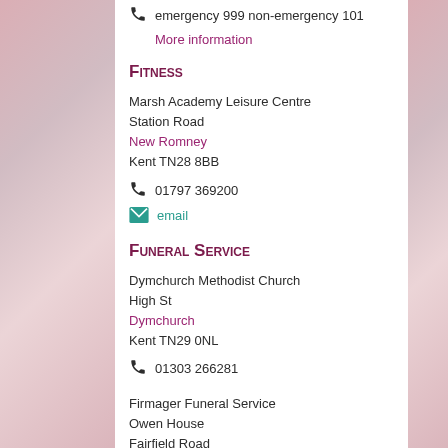emergency 999 non-emergency 101
More information
Fitness
Marsh Academy Leisure Centre
Station Road
New Romney
Kent TN28 8BB
01797 369200
email
Funeral Service
Dymchurch Methodist Church
High St
Dymchurch
Kent TN29 0NL
01303 266281
Firmager Funeral Service
Owen House
Fairfield Road
New Romney